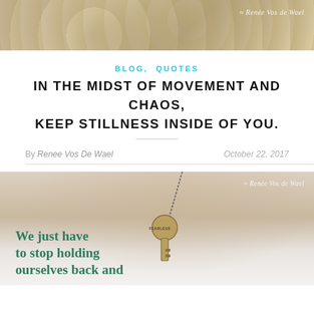[Figure (photo): Top banner photo of a person with blond wavy hair, with concentric circle patterns overlaid, and a watermark reading 'Renee Vos de Wael' in cursive at top right]
BLOG,  QUOTES
IN THE MIDST OF MOVEMENT AND CHAOS, KEEP STILLNESS INSIDE OF YOU.
By Renee Vos De Wael   October 22, 2017
[Figure (photo): Photo of a person in a white top holding a key necklace with the word FEARLESS on the key. Watermark reads 'Renee Vos de Wael' at top right. Green bold text overlaid at bottom left reads 'We just have to stop holding ourselves back and']